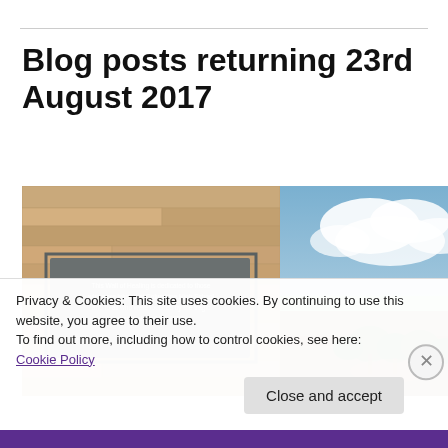Blog posts returning 23rd August 2017
[Figure (photo): Two side-by-side photos: left shows a stone wall with a dark plaque reading 'This Wall of Healing is dedicated to those who were injured at Columbine High School and to all who were touched by the tragic events of April 20, 1999.' Right shows an outdoor landscape with sky, clouds, green trees and red earth.]
Privacy & Cookies: This site uses cookies. By continuing to use this website, you agree to their use.
To find out more, including how to control cookies, see here: Cookie Policy